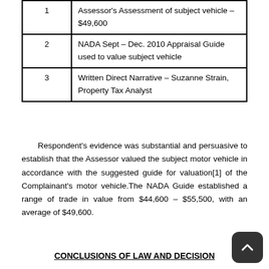|  |  |
| --- | --- |
| 1 | Assessor's Assessment of subject vehicle – $49,600 |
| 2 | NADA Sept – Dec. 2010 Appraisal Guide used to value subject vehicle |
| 3 | Written Direct Narrative – Suzanne Strain, Property Tax Analyst |
Respondent's evidence was substantial and persuasive to establish that the Assessor valued the subject motor vehicle in accordance with the suggested guide for valuation[1] of the Complainant's motor vehicle.The NADA Guide established a range of trade in value from $44,600 – $55,500, with an average of $49,600.
CONCLUSIONS OF LAW AND DECISION